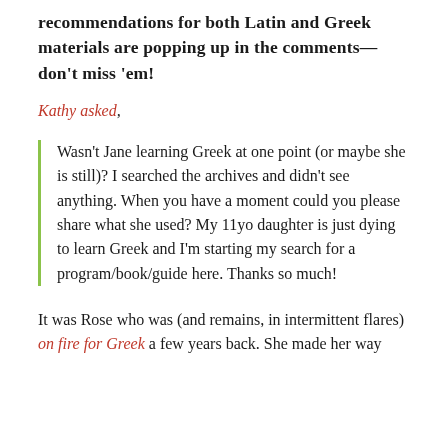recommendations for both Latin and Greek materials are popping up in the comments—don't miss 'em!
Kathy asked,
Wasn't Jane learning Greek at one point (or maybe she is still)? I searched the archives and didn't see anything. When you have a moment could you please share what she used? My 11yo daughter is just dying to learn Greek and I'm starting my search for a program/book/guide here. Thanks so much!
It was Rose who was (and remains, in intermittent flares) on fire for Greek a few years back. She made her way through the Stratton books of Homeschool At Teach Me…